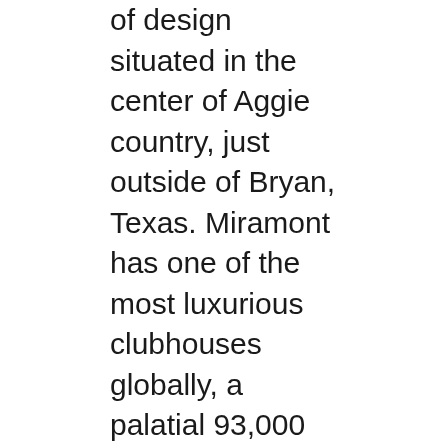of design situated in the center of Aggie country, just outside of Bryan, Texas. Miramont has one of the most luxurious clubhouses globally, a palatial 93,000 sq ft brick beauty with stunning course views and nearby areas from the spacious balcony.
The terrain includes rolling grassland meadows and towering oak trees to complement the collection of bunkers and undulated greens. The course provides plenty of risk/reward opportunities for the golfer to employ throughout the round, with multiple fairways and challenging water hazards.
Old American Golf Course at the Tribute (The Colony)